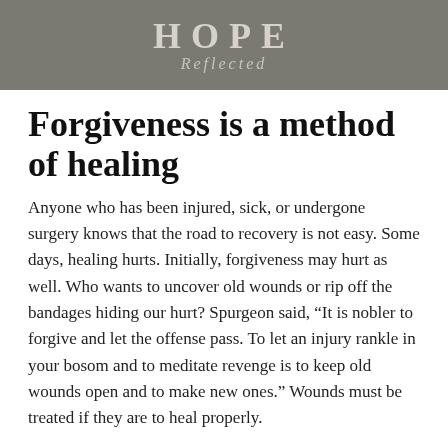HOPE Reflected
Forgiveness is a method of healing
Anyone who has been injured, sick, or undergone surgery knows that the road to recovery is not easy. Some days, healing hurts. Initially, forgiveness may hurt as well. Who wants to uncover old wounds or rip off the bandages hiding our hurt? Spurgeon said, “It is nobler to forgive and let the offense pass. To let an injury rankle in your bosom and to meditate revenge is to keep old wounds open and to make new ones.” Wounds must be treated if they are to heal properly.
When Hezekiah prayed for the Lord to pardon those that prepared their hearts to seek God, we read that the Lord healed the people (2 Chronicles 30:20). Forgiveness is no easy